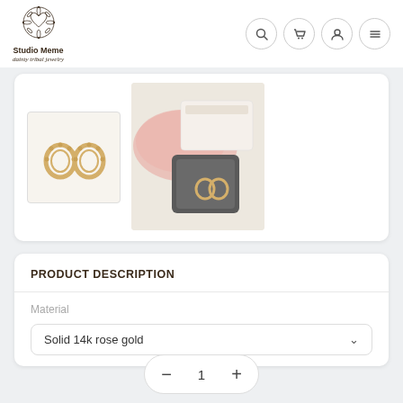[Figure (logo): Studio Meme dainty tribal jewelry logo with decorative mandala/heart snowflake design]
[Figure (photo): Thumbnail of gold hoop earrings with tribal design on white background]
[Figure (photo): Main product photo showing gold hoop earrings with packaging - pink silk cloth, white box, and dark jewelry pouch]
PRODUCT DESCRIPTION
Material
Solid 14k rose gold